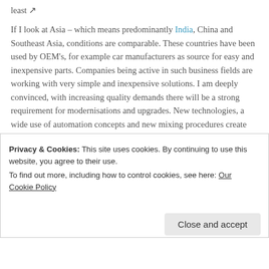If I look at Asia – which means predominantly India, China and Southeast Asia, conditions are comparable. These countries have been used by OEM's, for example car manufacturers as source for easy and inexpensive parts. Companies being active in such business fields are working with very simple and inexpensive solutions. I am deeply convinced, with increasing quality demands there will be a strong requirement for modernisations and upgrades. New technologies, a wide use of automation concepts and new mixing procedures create the necessity to qualify as well the
Privacy & Cookies: This site uses cookies. By continuing to use this website, you agree to their use.
To find out more, including how to control cookies, see here: Our Cookie Policy